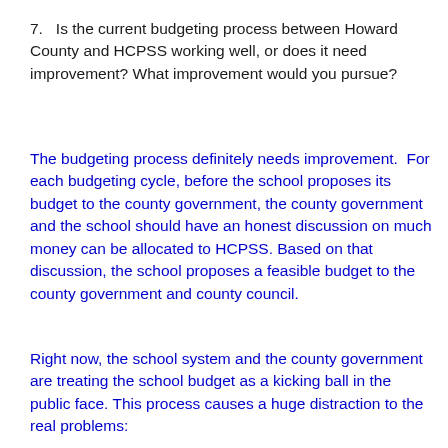7.   Is the current budgeting process between Howard County and HCPSS working well, or does it need improvement? What improvement would you pursue?
The budgeting process definitely needs improvement.  For each budgeting cycle, before the school proposes its budget to the county government, the county government and the school should have an honest discussion on much money can be allocated to HCPSS. Based on that discussion, the school proposes a feasible budget to the county government and county council.
Right now, the school system and the county government are treating the school budget as a kicking ball in the public face. This process causes a huge distraction to the real problems: